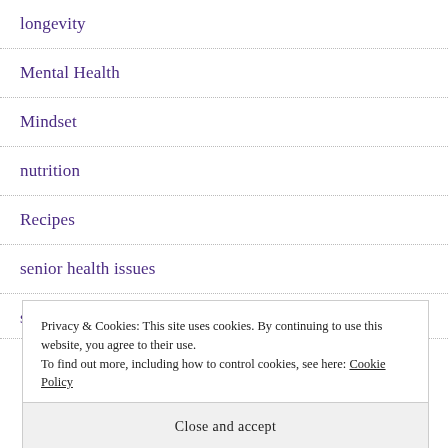longevity
Mental Health
Mindset
nutrition
Recipes
senior health issues
skin care
Privacy & Cookies: This site uses cookies. By continuing to use this website, you agree to their use.
To find out more, including how to control cookies, see here: Cookie Policy
Close and accept